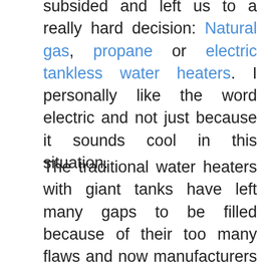subsided and left us to a really hard decision: Natural gas, propane or electric tankless water heaters. I personally like the word electric and not just because it sounds cool in this situation.
The traditional water heaters with giant tanks have left many gaps to be filled because of their too many flaws and now manufacturers are trying their best to produce a product that will bridge those gaps. Thus, Electric tankless water heaters rushed to the rescue and, personally, I think that the competition with gas/propane